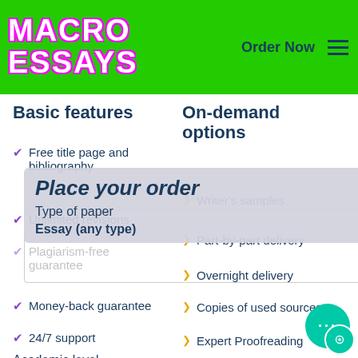[Figure (logo): Macro Essays logo with green background, neon text with pink/magenta outline]
Basic features
On-demand options
Free title page and bibliography
Writer's samples
Unlimited revisions
Part-by-part delivery
Plagiarism-free guarantee
Overnight delivery
Money-back guarantee
Copies of used sources
24/7 support
Expert Proofreading
Place your order
Type of paper
Essay (any type)
Academic level
Paper format